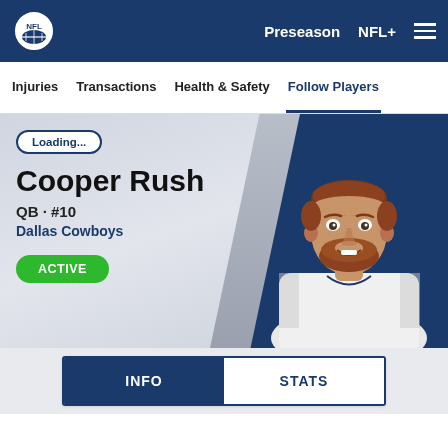NFL | Preseason  NFL+  ≡
Injuries  Transactions  Health & Safety  Follow Players
Loading...
Cooper Rush
QB · #10
Dallas Cowboys
ACTIVE
[Figure (photo): Headshot photo of Cooper Rush, QB #10, Dallas Cowboys, smiling, with beard, wearing white jersey]
INFO  STATS